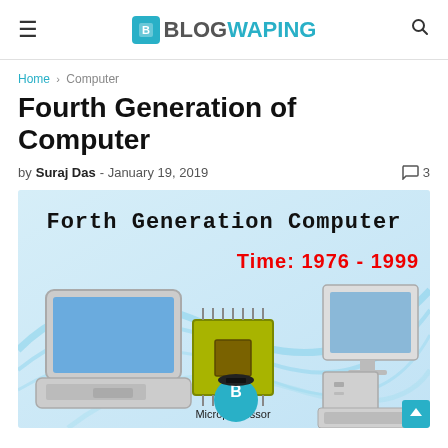BLOGWAPING
Home > Computer
Fourth Generation of Computer
by Suraj Das - January 19, 2019  💬 3
[Figure (illustration): Hero image for 'Forth Generation Computer' blog post showing a laptop, a microprocessor chip, and a vintage desktop computer. Text reads 'Forth Generation Computer' and 'Time: 1976 - 1999'. Blue swirl background.]